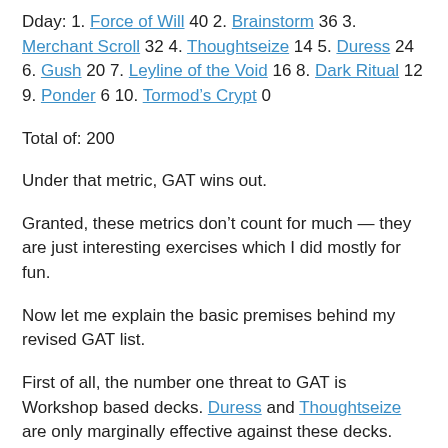Dday: 1. Force of Will 40 2. Brainstorm 36 3. Merchant Scroll 32 4. Thoughtseize 14 5. Duress 24 6. Gush 20 7. Leyline of the Void 16 8. Dark Ritual 12 9. Ponder 6 10. Tormod's Crypt 0
Total of: 200
Under that metric, GAT wins out.
Granted, these metrics don’t count for much — they are just interesting exercises which I did mostly for fun.
Now let me explain the basic premises behind my revised GAT list.
First of all, the number one threat to GAT is Workshop based decks. Duress and Thoughtseize are only marginally effective against these decks. Your best bet, most of the time, is to try and win on turn 1 or 2, which isn’t a very likely scenario.